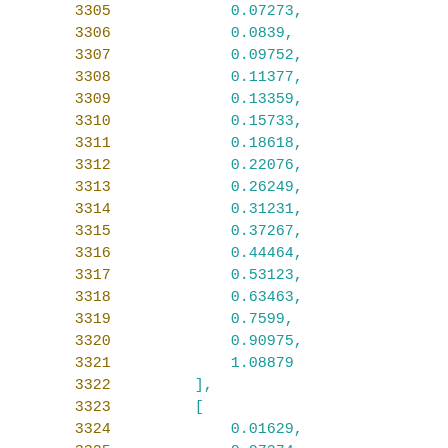| line | code |
| --- | --- |
| 3305 | 0.07273, |
| 3306 | 0.0839, |
| 3307 | 0.09752, |
| 3308 | 0.11377, |
| 3309 | 0.13359, |
| 3310 | 0.15733, |
| 3311 | 0.18618, |
| 3312 | 0.22076, |
| 3313 | 0.26249, |
| 3314 | 0.31231, |
| 3315 | 0.37267, |
| 3316 | 0.44464, |
| 3317 | 0.53123, |
| 3318 | 0.63463, |
| 3319 | 0.7599, |
| 3320 | 0.90975, |
| 3321 | 1.08879 |
| 3322 | ], |
| 3323 | [ |
| 3324 | 0.01629, |
| 3325 | 0.07274, |